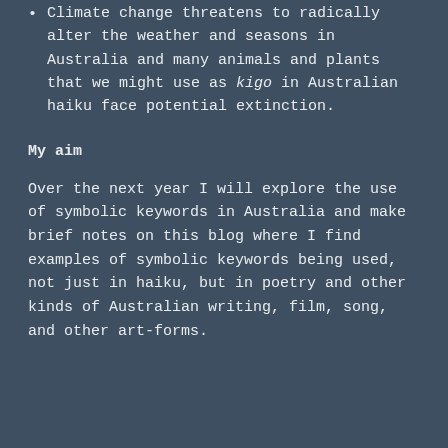Climate change threatens to radically alter the weather and seasons in Australia and many animals and plants that we might use as kigo in Australian haiku face potential extinction.
My aim
Over the next year I will explore the use of symbolic keywords in Australia and make brief notes on this blog where I find examples of symbolic keywords being used, not just in haiku, but in poetry and other kinds of Australian writing, film, song, and other art-forms.